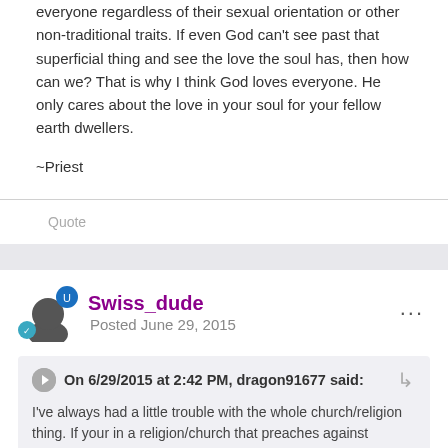everyone regardless of their sexual orientation or other non-traditional traits. If even God can't see past that superficial thing and see the love the soul has, then how can we? That is why I think God loves everyone. He only cares about the love in your soul for your fellow earth dwellers.
~Priest
Quote
Swiss_dude
Posted June 29, 2015
On 6/29/2015 at 2:42 PM, dragon91677 said:
I've always had a little trouble with the whole church/religion thing. If your in a religion/church that preaches against certain activities then aren't you in the wrong church/religion? Instead of expecting the church and